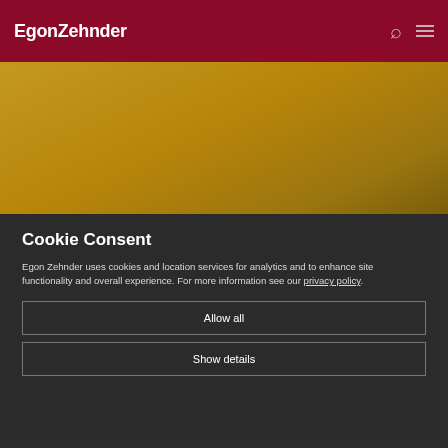EgonZehnder
[Figure (photo): Gold/amber colored hero image background area]
Cookie Consent
Egon Zehnder uses cookies and location services for analytics and to enhance site functionality and overall experience. For more information see our privacy policy.
Allow all
Show details
A New Culture of Sharing